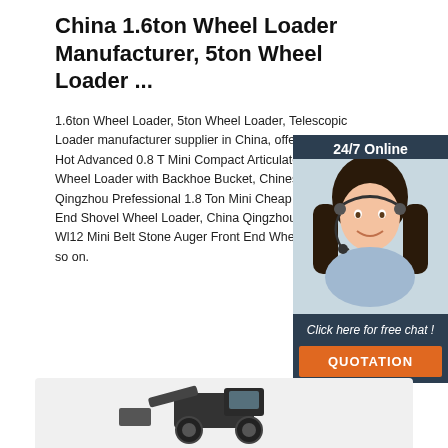China 1.6ton Wheel Loader Manufacturer, 5ton Wheel Loader ...
1.6ton Wheel Loader, 5ton Wheel Loader, Telescopic Loader manufacturer supplier in China, offering Hot Advanced 0.8 T Mini Compact Articulated Wheel Loader with Backhoe Bucket, Chinese Qingzhou Prefessional 1.8 Ton Mini Cheap One End Shovel Wheel Loader, China Qingzhou M Wl12 Mini Belt Stone Auger Front End Wheel L so on.
[Figure (photo): Customer service representative with headset, dark hair, smiling, with 24/7 Online label and chat widget overlay]
Get Price
Click here for free chat !
QUOTATION
[Figure (photo): Partial view of a wheel loader machine on a light grey background]